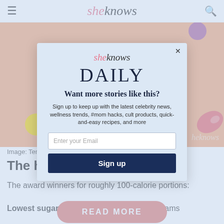sheknows
[Figure (illustration): Orange background hero image with text 'RANKED BASED ON CALORIES' and candy decorations including yellow, purple round candies and a red wrapped candy. SheKnows watermark bottom right.]
Image: Terese...
The high...
The award winners for roughly 100-calorie portions:
Lowest sugar content: Twix fun size at 4 grams
[Figure (screenshot): SheKnows Daily newsletter modal overlay with logo, DAILY heading, 'Want more stories like this?' text, sign up description, email input field, and Sign up button.]
READ MORE